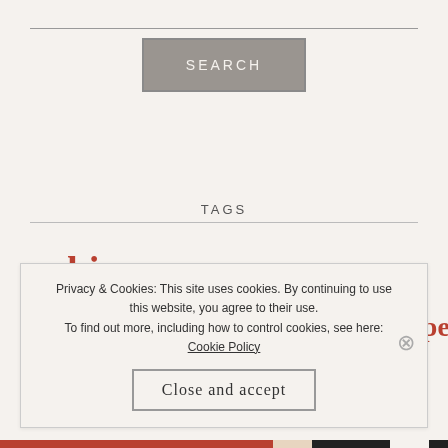[Figure (screenshot): Search button box with grey border and grey background]
TAGS
africa bioeconomy bioenergy biomethane biorefineries climate cognitive colaboration coop cooperatives
Privacy & Cookies: This site uses cookies. By continuing to use this website, you agree to their use. To find out more, including how to control cookies, see here: Cookie Policy
Close and accept